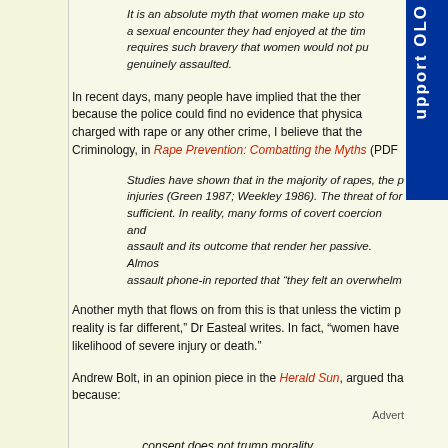It is an absolute myth that women make up stories about rape to lie about a sexual encounter they had enjoyed at the time. Reporting rape requires such bravery that women would not put themselves through it unless genuinely assaulted.
In recent years, many people have implied that the there... because the police could find no evidence that physical... charged with rape or any other crime, I believe that the... Criminology, in Rape Prevention: Combatting the Myths (PDF...
Studies have shown that in the majority of rapes, the p... injuries (Green 1987; Weekley 1986). The threat of for... sufficient. In reality, many forms of covert coercion and... assault and its outcome that render her passive. Almost... assault phone-in reported that "they felt an overwhelm...
Another myth that flows on from this is that unless the victim p... reality is far different," Dr Easteal writes. In fact, "women have... likelihood of severe injury or death."
Andrew Bolt, in an opinion piece in the Herald Sun, argued tha... because:
… consent does not trump morality ...
… The problem is that trusting to consent means - for ... strong enough to work out all by their uncertain selves... that the 19-year-old woman was neither that smart nor... Zealand police to complain of assault, bitterly regretting...